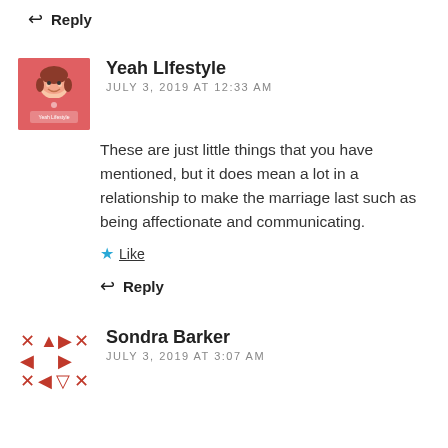↩ Reply
[Figure (illustration): Avatar for Yeah Lifestyle — pink/red square avatar with cartoon girl illustration and text]
Yeah Lifestyle
JULY 3, 2019 AT 12:33 AM
These are just little things that you have mentioned, but it does mean a lot in a relationship to make the marriage last such as being affectionate and communicating.
★ Like
↩ Reply
[Figure (illustration): Avatar for Sondra Barker — red geometric/tribal pattern avatar]
Sondra Barker
JULY 3, 2019 AT 3:07 AM